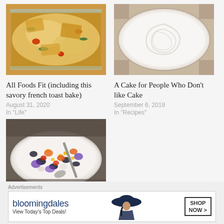[Figure (photo): Photo of a savory french toast bake with cheese, vegetables in a baking dish]
All Foods Fit (including this savory french toast bake)
August 31, 2020
In "Life"
[Figure (photo): Photo of a cake with white frosting spread on top, viewed from above]
A Cake for People Who Don't like Cake
September 6, 2019
In "Recipes"
[Figure (photo): Photo of a colorful bean and vegetable salad in a white bowl with a spoon]
Meal and Snack Inspiration
February 15, 2021
Advertisements
[Figure (screenshot): Bloomingdales advertisement banner: bloomingdales, View Today's Top Deals!, with woman in hat, SHOP NOW >]